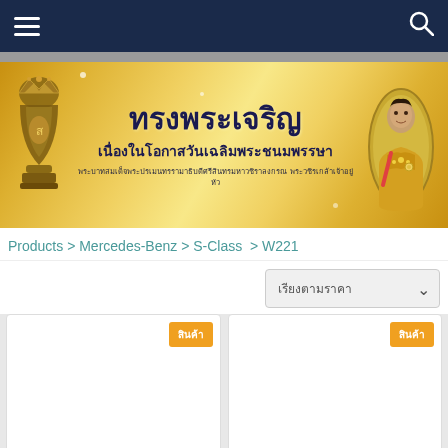Navigation bar with hamburger menu and search icon
[Figure (illustration): Thai royal banner with golden gradient background, royal emblem on left, Thai text 'ทรงพระเจริญ เนื่องในโอกาสวันเฉลิมพระชนมพรรษา' in center, and portrait of Thai royal in oval frame on right]
Products > Mercedes-Benz > S-Class > W221
เรียงตามราคา (dropdown selector)
สินค้า (product card badge) x2